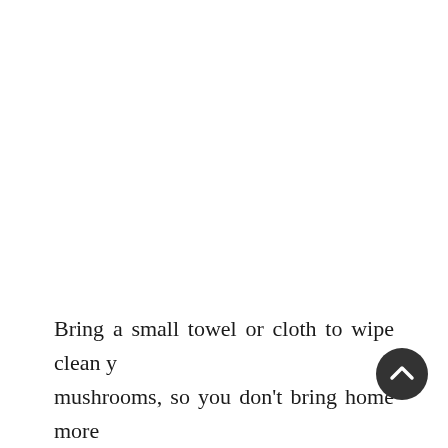Bring a small towel or cloth to wipe clean your mushrooms, so you don't bring home more